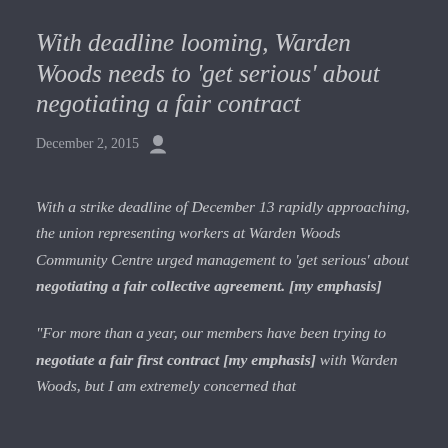With deadline looming, Warden Woods needs to 'get serious' about negotiating a fair contract
December 2, 2015
With a strike deadline of December 13 rapidly approaching, the union representing workers at Warden Woods Community Centre urged management to 'get serious' about negotiating a fair collective agreement. [my emphasis]
“For more than a year, our members have been trying to negotiate a fair first contract [my emphasis] with Warden Woods, but I am extremely concerned that